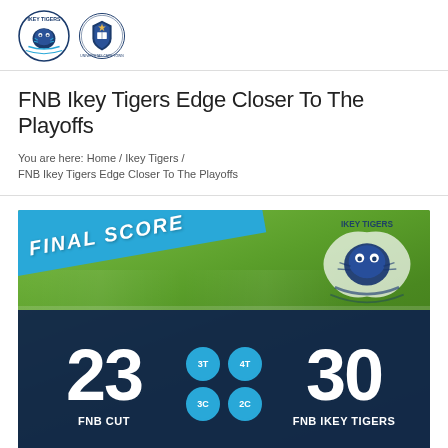[Figure (logo): Ikey Tigers and UCT logos side by side in page header]
FNB Ikey Tigers Edge Closer To The Playoffs
You are here: Home / Ikey Tigers / FNB Ikey Tigers Edge Closer To The Playoffs
[Figure (infographic): Final score infographic: FNB CUT 23 (3T 3C) vs FNB IKEY TIGERS 30 (4T 2C), with Ikey Tigers logo watermark and green grass field background]